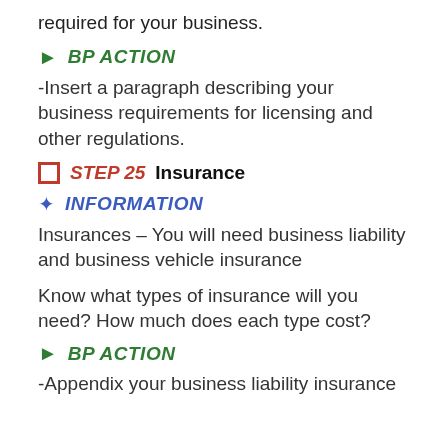required for your business.
BP ACTION
-Insert a paragraph describing your business requirements for licensing and other regulations.
STEP 25  Insurance
INFORMATION
Insurances – You will need business liability and business vehicle insurance
Know what types of insurance will you need? How much does each type cost?
BP ACTION
-Appendix your business liability insurance